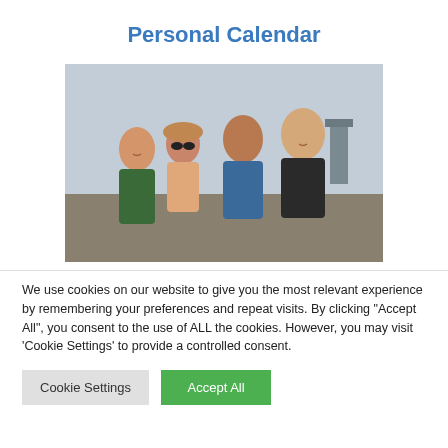Personal Calendar
[Figure (photo): Group of four young adults sitting outdoors, smiling and socializing, on what appears to be a rooftop or elevated platform.]
We use cookies on our website to give you the most relevant experience by remembering your preferences and repeat visits. By clicking "Accept All", you consent to the use of ALL the cookies. However, you may visit 'Cookie Settings' to provide a controlled consent.
Cookie Settings | Accept All